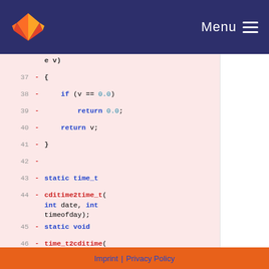GitLab — Menu
[Figure (screenshot): Code diff view showing removed lines 37-46 on left panel and lines 34-36 on right panel, with static function declarations in C]
Imprint | Privacy Policy